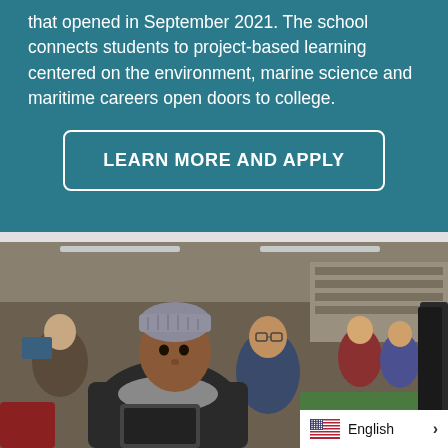that opened in September 2021. The school connects students to project-based learning centered on the environment, marine science and maritime careers open doors to college.
LEARN MORE AND APPLY
[Figure (photo): Students in a classroom or computer lab setting. In the foreground, a young woman wearing a grey knit beanie and scarf looks toward the camera. Behind her, a student with glasses rests their chin on their hand. Background shows more students working at computers and shelves.]
English >